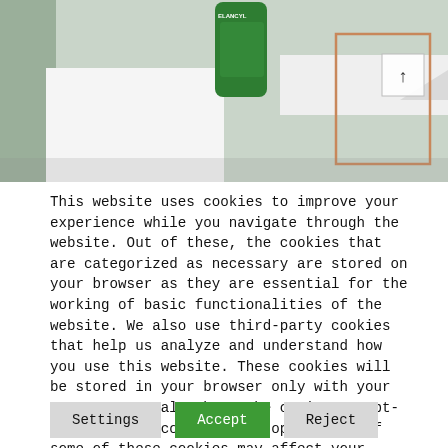[Figure (photo): Website screenshot showing a cosmetic product (Elancyl green bottle) on a light green/grey background with white geometric props and a copper-framed mirror. A scroll-to-top arrow button is visible in the top right corner.]
This website uses cookies to improve your experience while you navigate through the website. Out of these, the cookies that are categorized as necessary are stored on your browser as they are essential for the working of basic functionalities of the website. We also use third-party cookies that help us analyze and understand how you use this website. These cookies will be stored in your browser only with your consent. You also have the option to opt-out of these cookies. But opting out of some of these cookies may affect your browsing experience.